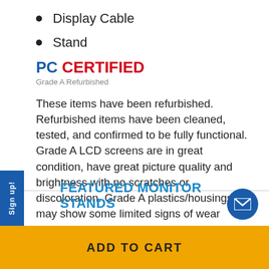Display Cable
Stand
[Figure (logo): PC CERTIFIED Grade A Refurbished logo with blue PC text and red CERTIFIED text]
These items have been refurbished. Refurbished items have been cleaned, tested, and confirmed to be fully functional. Grade A LCD screens are in great condition, have great picture quality and brightness with no scratches or discoloration. Grade A plastics/housings may show some limited signs of wear including slight discoloration and scratches that cannot be felt.
FEATURED MONITOR STANDS